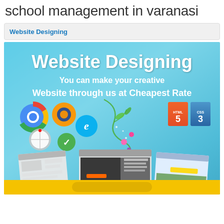school management in varanasi
Website Designing
[Figure (illustration): Website Designing promotional banner with teal/blue gradient background. Large white bold text reads 'Website Designing', below it 'You can make your creative', then 'Website through us at Cheapest Rate'. Left side shows browser logos (Chrome, Firefox, IE, Safari, green checkmark). Center shows floral vine decoration with flowers. Right side shows HTML5 and CSS3 logos. Bottom shows multiple website screenshot mockups displayed at angles. Bottom has a yellow button bar.]